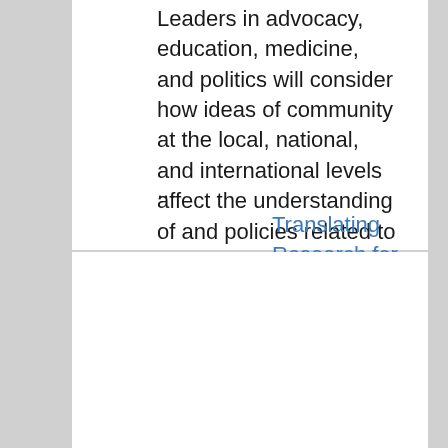Leaders in advocacy, education, medicine, and politics will consider how ideas of community at the local, national, and international levels affect the understanding of and policies related to disability—and how this has manifested itself, in particular, in higher education.
...
Translating Research for Better Policy
Location: Leadership Studio, 10th floor Kresge Building, Harvard School of Public Health, 677